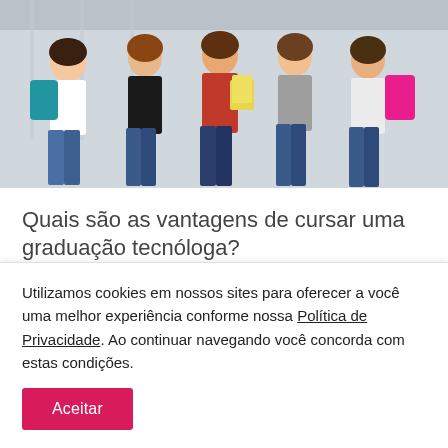[Figure (photo): Group of college students with backpacks and books standing together outdoors near a building]
Quais são as vantagens de cursar uma graduação tecnóloga?
A formação superior é uma etapa da vida profissional que leva tempo, dinheiro e muitas vezes pode parecer árdua demais. Por
Utilizamos cookies em nossos sites para oferecer a você uma melhor experiência conforme nossa Política de Privacidade. Ao continuar navegando você concorda com estas condições.